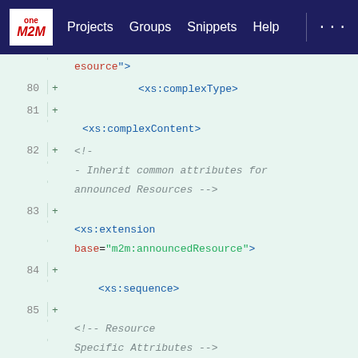[Figure (screenshot): oneM2M GitLab navigation bar with logo, Projects, Groups, Snippets, Help links]
Code viewer showing XML schema lines 80-87 with syntax highlighting. Line continuation: esource">, Line 80: <xs:complexType>, Line 81: <xs:complexContent>, Line 82: <!-- - Inherit common attributes for announced Resources -->, Line 83: <xs:extension base="m2m:announcedResource">, Line 84: <xs:sequence>, Line 85: <!-- Resource Specific Attributes -->, Line 86: <xs:element name="appName" type="xs:string" minOccurs="0" />, Line 87: +